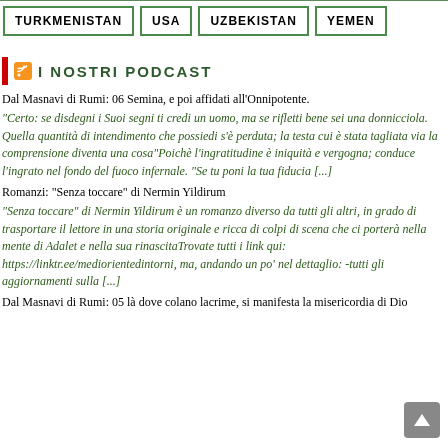| TURKMENISTAN | USA | UZBEKISTAN | YEMEN |
I NOSTRI PODCAST
Dal Masnavi di Rumi: 06 Semina, e poi affidati all’Onnipotente.
“Certo: se disdegni i Suoi segni ti credi un uomo, ma se rifletti bene sei una donnicciola. Quella quantità di intendimento che possiedi s’è perduta; la testa cui è stata tagliata via la comprensione diventa una cosa”Poichè l’ingratitudine è iniquità e vergogna; conduce l’ingrato nel fondo del fuoco infernale. “Se tu poni la tua fiducia [...]
Romanzi: "Senza toccare" di Nermin Yildirum
“Senza toccare” di Nermin Yildirum è un romanzo diverso da tutti gli altri, in grado di trasportare il lettore in una storia originale e ricca di colpi di scena che ci porterà nella mente di Adalet e nella sua rinascitaTrovate tutti i link qui: https://linktr.ee/mediorientedintorni, ma, andando un po' nel dettaglio: -tutti gli aggiornamenti sulla [...]
Dal Masnavi di Rumi: 05 là dove colano lacrime, si manifesta la misericordia di Dio